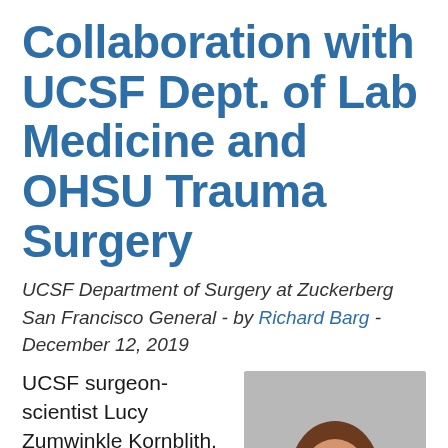Collaboration with UCSF Dept. of Lab Medicine and OHSU Trauma Surgery
UCSF Department of Surgery at Zuckerberg San Francisco General - by Richard Barg - December 12, 2019
UCSF surgeon-scientist Lucy Zumwinkle Kornblith, MD is a co-investigator on a
[Figure (photo): Professional headshot of a woman with long brown hair, smiling, wearing a black top, against a gray background. Identified as Lucy Zumwinkle Kornblith, MD.]